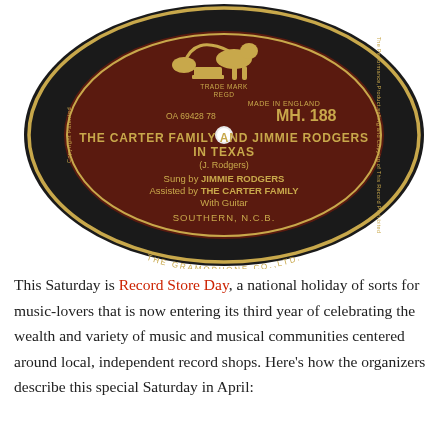[Figure (photo): A photograph of a vintage gramophone record label. Dark maroon/brown label with gold text. Label reads: HMV logo with dog and gramophone at top. 'TRADE MARK REGD', 'MADE IN ENGLAND', 'OA 69428 78', 'MH. 188'. Main title: 'THE CARTER FAMILY AND JIMMIE RODGERS IN TEXAS'. Subtitle: '(J. Rodgers)'. Credits: 'Sung by JIMMIE RODGERS / Assisted by THE CARTER FAMILY / With Guitar'. Publisher: 'SOUTHERN, N.C.B.'. Around the rim: 'THE GRAMOPHONE CO.,LTD.' and copyright text.]
This Saturday is Record Store Day, a national holiday of sorts for music-lovers that is now entering its third year of celebrating the wealth and variety of music and musical communities centered around local, independent record shops. Here's how the organizers describe this special Saturday in April: